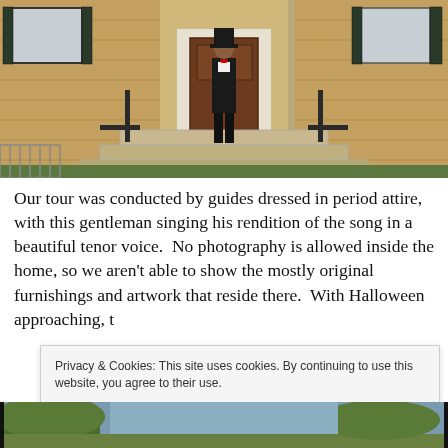[Figure (photo): A man dressed in period attire (black suit, bow tie, top hat) standing on the steps of a historic brick building with white-trimmed door and dark shutters.]
Our tour was conducted by guides dressed in period attire, with this gentleman singing his rendition of the song in a beautiful tenor voice.  No photography is allowed inside the home, so we aren't able to show the mostly original furnishings and artwork that reside there.  With Halloween approaching, t[he property...]
Privacy & Cookies: This site uses cookies. By continuing to use this website, you agree to their use.
To find out more, including how to control cookies, see here: Cookie Policy
Close and accept
[Figure (photo): Bottom strip of a photograph showing outdoor scenery, partially visible.]